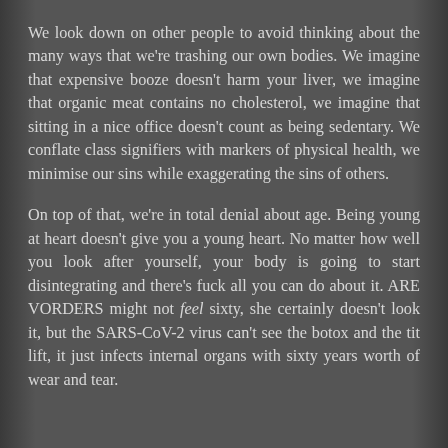We look down on other people to avoid thinking about the many ways that we're trashing our own bodies. We imagine that expensive booze doesn't harm your liver, we imagine that organic meat contains no cholesterol, we imagine that sitting in a nice office doesn't count as being sedentary. We conflate class signifiers with markers of physical health, we minimise our sins while exaggerating the sins of others.
On top of that, we're in total denial about age. Being young at heart doesn't give you a young heart. No matter how well you look after yourself, your body is going to start disintegrating and there's fuck all you can do about it. ARE VORDERS might not feel sixty, she certainly doesn't look it, but the SARS-CoV-2 virus can't see the botox and the tit lift, it just infects internal organs with sixty years worth of wear and tear.